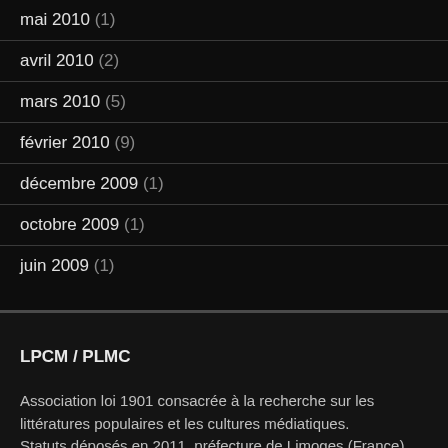mai 2010 (1)
avril 2010 (2)
mars 2010 (5)
février 2010 (9)
décembre 2009 (1)
octobre 2009 (1)
juin 2009 (1)
LPCM / PLMC
Association loi 1901 consacrée à la recherche sur les littératures populaires et les cultures médiatiques.
Statuts déposés en 2011, préfecture de Limoges (France)